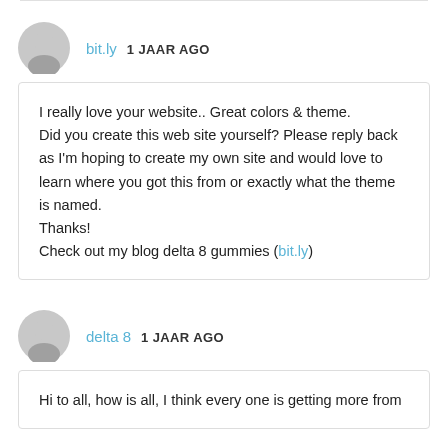bit.ly  1 JAAR AGO
I really love your website.. Great colors & theme. Did you create this web site yourself? Please reply back as I'm hoping to create my own site and would love to learn where you got this from or exactly what the theme is named.
Thanks!
Check out my blog delta 8 gummies (bit.ly)
delta 8  1 JAAR AGO
Hi to all, how is all, I think every one is getting more from